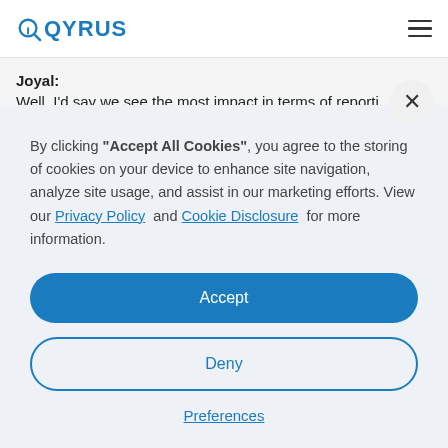[Figure (logo): QYRUS logo in blue with stylized Q icon]
Joyal:
Well, I'd say we see the most impact in terms of reporti
By clicking "Accept All Cookies", you agree to the storing of cookies on your device to enhance site navigation, analyze site usage, and assist in our marketing efforts. View our Privacy Policy and Cookie Disclosure for more information.
Accept
Deny
Preferences